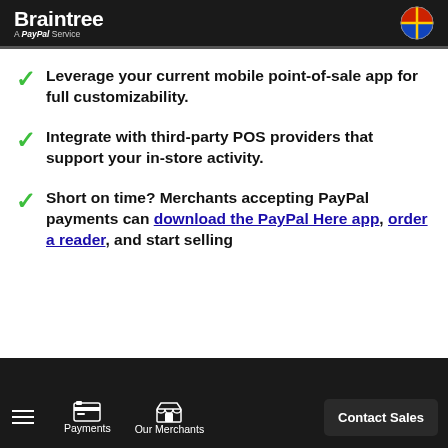Braintree A PayPal Service
Leverage your current mobile point-of-sale app for full customizability.
Integrate with third-party POS providers that support your in-store activity.
Short on time? Merchants accepting PayPal payments can download the PayPal Here app, order a reader, and start selling
Payments | Our Merchants | Contact Sales